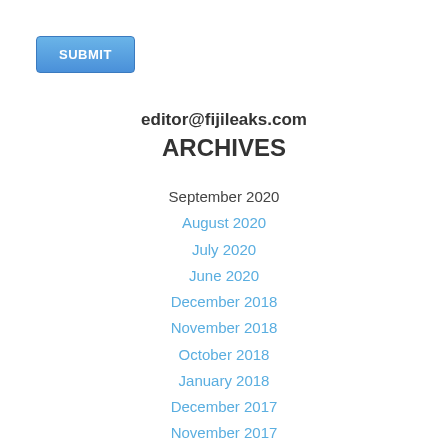[Figure (other): Blue SUBMIT button in top-left corner]
editor@fijileaks.com
ARCHIVES
September 2020
August 2020
July 2020
June 2020
December 2018
November 2018
October 2018
January 2018
December 2017
November 2017
October 2017
September 2017
August 2017
July 2017